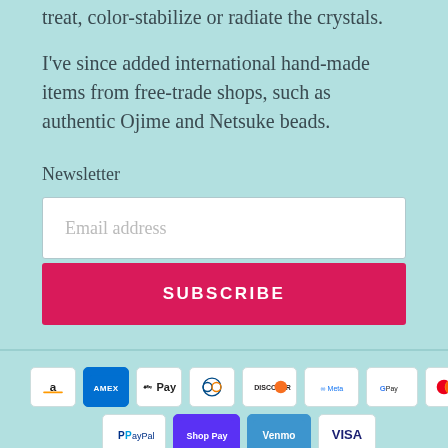treat, color-stabilize or radiate the crystals.
I've since added international hand-made items from free-trade shops, such as authentic Ojime and Netsuke beads.
Newsletter
[Figure (screenshot): Email address input field (white rectangle with placeholder text 'Email address')]
[Figure (screenshot): Subscribe button in red/crimson with white text 'SUBSCRIBE' in caps]
[Figure (infographic): Row of payment method logos: Amazon, AMEX, Apple Pay, Diners Club, Discover, Meta Pay, Google Pay, Mastercard; second row: PayPal, Shop Pay, Venmo, Visa]